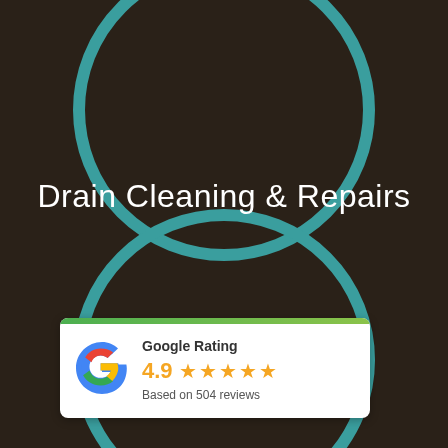[Figure (illustration): Dark brown background with two large teal/turquoise outlined circles — one at the top (partially visible) and one at the bottom center. Decorative graphic elements for a plumbing/drain service advertisement.]
Drain Cleaning & Repairs
[Figure (infographic): Google Rating card widget showing the Google 'G' logo, rating of 4.9 with 5 orange stars, and 'Based on 504 reviews' text. White card with green top bar.]